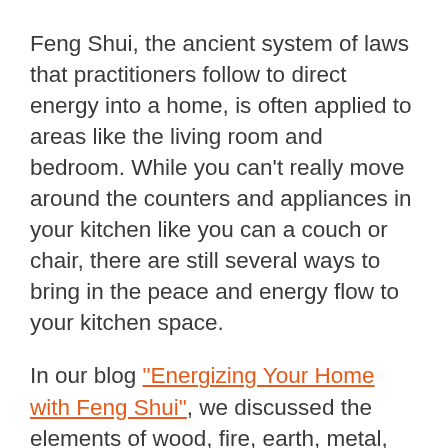Feng Shui, the ancient system of laws that practitioners follow to direct energy into a home, is often applied to areas like the living room and bedroom. While you can't really move around the counters and appliances in your kitchen like you can a couch or chair, there are still several ways to bring in the peace and energy flow to your kitchen space.
In our blog "Energizing Your Home with Feng Shui", we discussed the elements of wood, fire, earth, metal, and water.  It's easy to add these elements to the fixed nature of your kitchen through decor like lighting, paint, and